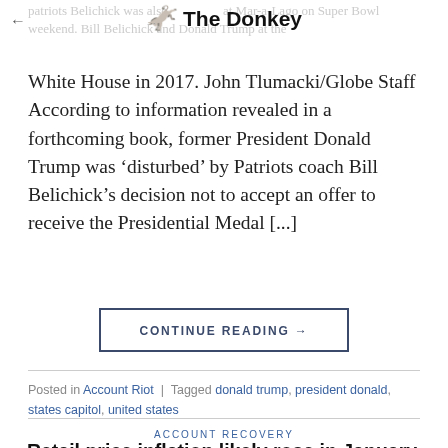The Donkey
patriots Belichick was also spotted at Mar-a-Lago on Super Bowl weekend. Bill Belichick and Donald Trump at the White House in 2017. John Tlumacki/Globe Staff According to information revealed in a forthcoming book, former President Donald Trump was ‘disturbed’ by Patriots coach Bill Belichick’s decision not to accept an offer to receive the Presidential Medal [...]
CONTINUE READING →
Posted in Account Riot | Tagged donald trump, president donald, states capitol, united states
ACCOUNT RECOVERY
Retail price inflation likely rose in January, but don’t panic, says RBI governor